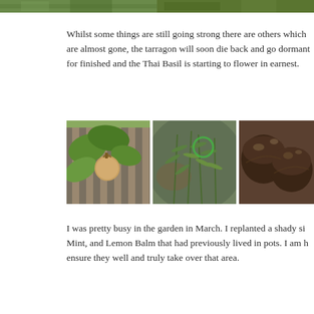[Figure (photo): Two partial garden photos at the top of the page showing green plants/foliage]
Whilst some things are still going strong there are others which are almost gone, the tarragon will soon die back and go dormant for finished and the Thai Basil is starting to flower in earnest.
[Figure (photo): A fig on a fig tree with green leaves and a wooden fence in the background]
[Figure (photo): Tarragon herb plant with thin narrow leaves, green, slightly blurred background]
[Figure (photo): Dark brown round mushrooms or similar round garden objects close-up]
I was pretty busy in the garden in March.  I replanted a shady si Mint, and Lemon Balm that had previously lived in pots.  I am h ensure they well and truly take over that area.